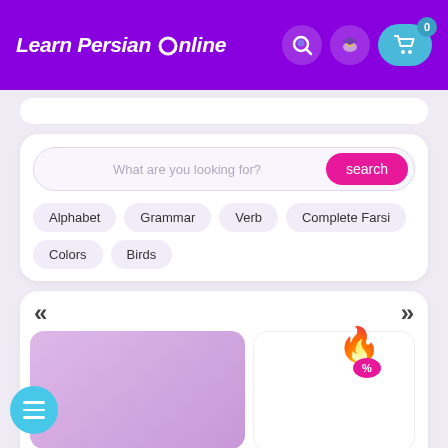Learn Persian Online
What are you looking for?
Alphabet
Grammar
Verb
Complete Farsi
Colors
Birds
[Figure (screenshot): Course carousel section with navigation arrows, fire/discount badge, a purple-pink gradient course card and a white course card]